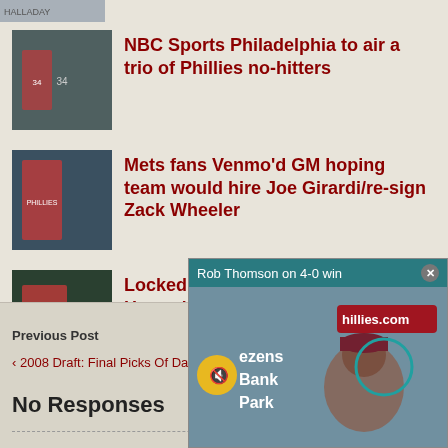[Figure (photo): Partial thumbnail strip at top]
NBC Sports Philadelphia to air a trio of Phillies no-hitters
Mets fans Venmo'd GM hoping team would hire Joe Girardi/re-sign Zack Wheeler
Locked On Phillies 6/29: Bryce Harper's dominant series you already forgot about
Previous Post
‹ 2008 Draft: Final Picks Of Day One
No Responses
[Figure (screenshot): Video popup: Rob Thomson on 4-0 win, showing press conference with Citizens Bank Park signage, mute button overlay]